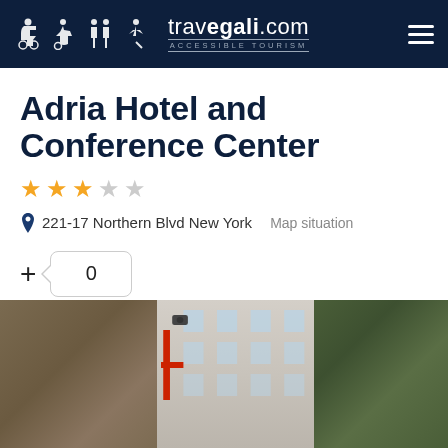travegali.com — ACCESSIBLE TOURISM
Adria Hotel and Conference Center
★★★☆☆
221-17 Northern Blvd New York    Map situation
+ 0
[Figure (photo): Exterior photo of Adria Hotel and Conference Center showing stone wall facade, building exterior, red cross sign, and tree canopy]